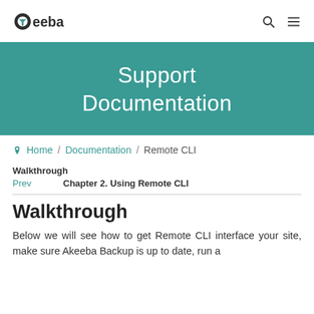Akeeba logo with search and menu icons
[Figure (other): Teal banner with text 'Support Documentation']
Support Documentation
Home / Documentation / Remote CLI
Walkthrough
Prev   Chapter 2. Using Remote CLI
Walkthrough
Below we will see how to get Remote CLI interface your site, make sure Akeeba Backup is up to date, run a